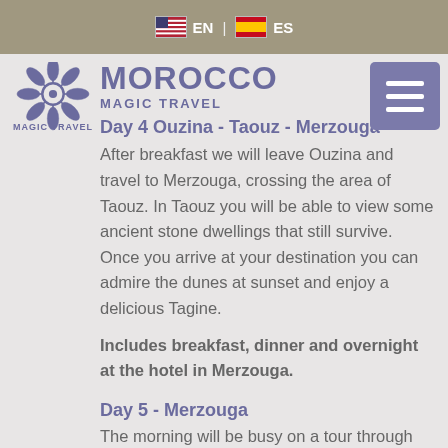[Figure (screenshot): Navigation bar with US and Spanish flag icons and language selectors EN and ES]
[Figure (logo): Morocco Magic Travel logo with geometric star pattern and text]
Day 4  Ouzina - Taouz - Merzouga
After breakfast we will leave Ouzina and travel to Merzouga, crossing the area of Taouz. In Taouz you will be able to view some ancient stone dwellings that still survive. Once you arrive at your destination you can admire the dunes at sunset and enjoy a delicious Tagine.
Includes breakfast, dinner and overnight at the hotel in Merzouga.
Day 5 -  Merzouga
The morning will be busy on a tour through the dunes in a 4wd vehicle. During the tour you will have the opportunity to meet Berber nomads who will welcome you with traditional tea.  After this we will visit